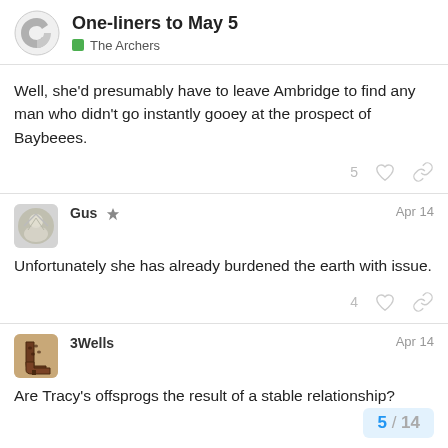One-liners to May 5 — The Archers
Well, she'd presumably have to leave Ambridge to find any man who didn't go instantly gooey at the prospect of Baybeees.
Gus  Apr 14
Unfortunately she has already burdened the earth with issue.
3Wells  Apr 14
Are Tracy's offsprogs the result of a stable relationship?
5 / 14